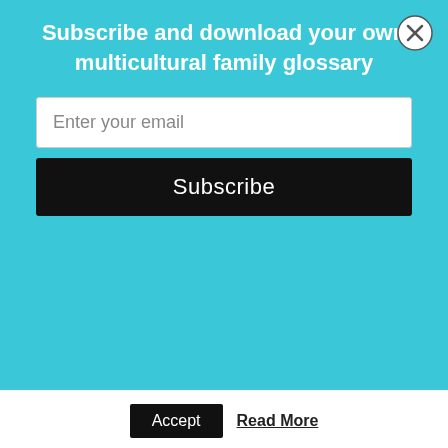Subscribe and download your own multicultural family glossary
Enter your email
Subscribe
[Figure (illustration): Star of David craft made from popsicle sticks decorated with blue and white beads on a tan background, with text 'Hanukkah for Preschoolers' below in dark blue on a light blue banner]
This website uses cookies to improve your experience. We'll assume you're ok with this, but you can opt-out if you wish.
Accept
Read More